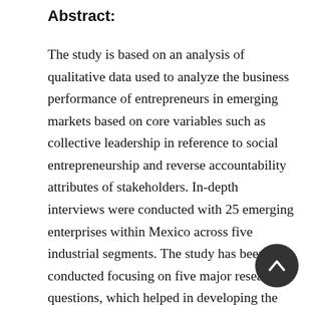Abstract:
The study is based on an analysis of qualitative data used to analyze the business performance of entrepreneurs in emerging markets based on core variables such as collective leadership in reference to social entrepreneurship and reverse accountability attributes of stakeholders. In-depth interviews were conducted with 25 emerging enterprises within Mexico across five industrial segments. The study has been conducted focusing on five major research questions, which helped in developing the grounded theory related to reverser accountability. The results of the study revealed that the traditional entrepreneurship model based on an individualistic leadership style is being replaced by a collective leadership model. The study focuses on the leadership styles within social enterprises aimed at enhancing accountability to key stakeholders.